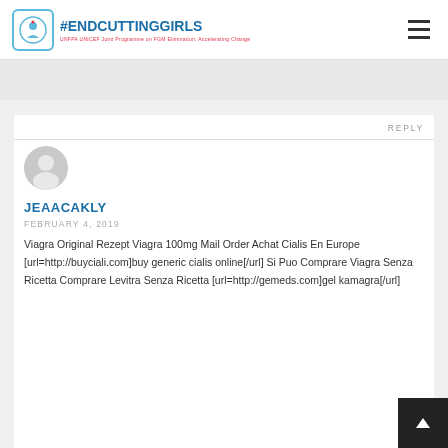#ENDCUTTINGGIRLS UNFPA UNICEF Joint Programme on FGM Elimination: Accelerating Change
REPLY
[Figure (illustration): Gray circular avatar/user icon]
JEAACAKLY
FEBRUARY 4, 2019
Viagra Original Rezept Viagra 100mg Mail Order Achat Cialis En Europe [url=http://buyciali.com]buy generic cialis online[/url] Si Puo Comprare Viagra Senza Ricetta Comprare Levitra Senza Ricetta [url=http://gemeds.com]gel kamagra[/url]